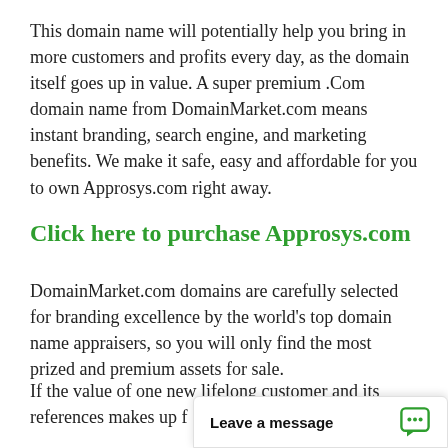This domain name will potentially help you bring in more customers and profits every day, as the domain itself goes up in value. A super premium .Com domain name from DomainMarket.com means instant branding, search engine, and marketing benefits. We make it safe, easy and affordable for you to own Approsys.com right away.
Click here to purchase Approsys.com
DomainMarket.com domains are carefully selected for branding excellence by the world's top domain name appraisers, so you will only find the most prized and premium assets for sale.
If the value of one new lifelong customer and its references makes up f... a great domain from D...